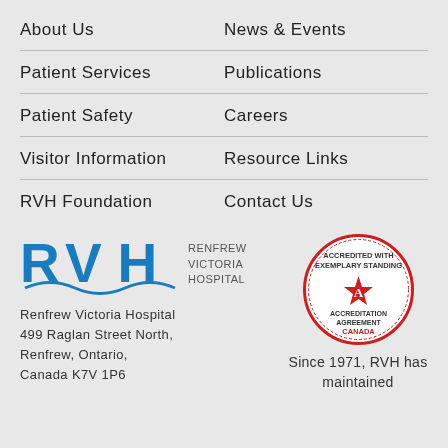About Us
News & Events
Patient Services
Publications
Patient Safety
Careers
Visitor Information
Resource Links
RVH Foundation
Contact Us
[Figure (logo): RVH Renfrew Victoria Hospital logo with blue letters and wave graphic]
Renfrew Victoria Hospital 499 Raglan Street North, Renfrew, Ontario, Canada K7V 1P6
[Figure (illustration): Accreditation Canada badge: Accredited with Exemplary Standing, Accreditation Agreement Canada]
Since 1971, RVH has maintained